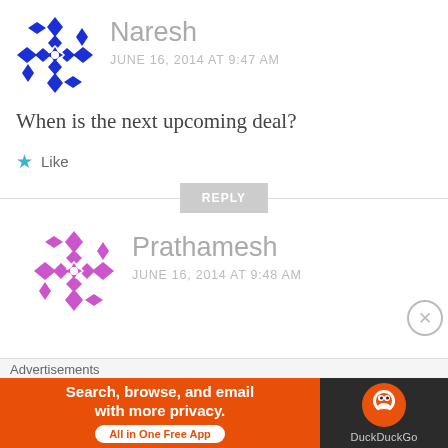[Figure (illustration): Blue geometric avatar for user Naresh — diamond/snowflake pattern in blue and white]
Naresh
JUNE 16, 2014 AT 9:47 AM
When is the next upcoming deal?
Like
REPLY
[Figure (illustration): Purple/violet geometric avatar for user Prathamesh — diamond/snowflake pattern in purple and white]
Prathamesh
JUNE 16, 2014 AT 9:48 AM
Advertisements
Search, browse, and email with more privacy. All in One Free App
DuckDuckGo